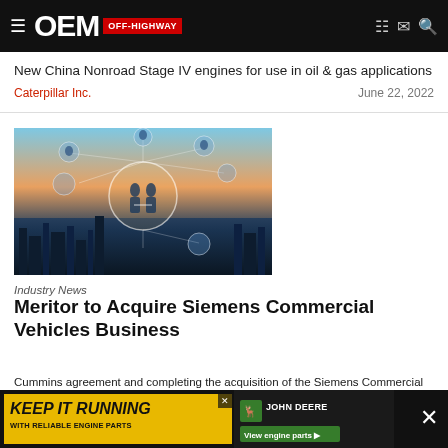OEM OFF-HIGHWAY
New China Nonroad Stage IV engines for use in oil & gas applications
Caterpillar Inc.                                           June 22, 2022
[Figure (photo): Network connectivity concept image showing silhouettes of two people shaking hands inside a glowing circle, surrounded by smaller circular icons of people and technology, overlaid on a cityscape at dusk.]
Industry News
Meritor to Acquire Siemens Commercial Vehicles Business
Cummins … agreement and completing the acquisition of the Siemens Commercial
[Figure (infographic): Advertisement banner: KEEP IT RUNNING WITH RELIABLE ENGINE PARTS — John Deere View engine parts]